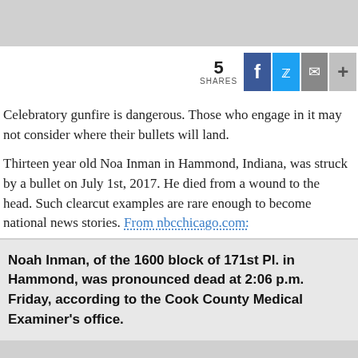[Figure (infographic): Social share bar showing 5 shares, with Facebook, Twitter, email, and plus buttons]
Celebratory gunfire is dangerous. Those who engage in it may not consider where their bullets will land.
Thirteen year old Noa Inman in Hammond, Indiana, was struck by a bullet on July 1st, 2017. He died from a wound to the head. Such clearcut examples are rare enough to become national news stories. From nbcchicago.com:
Noah Inman, of the 1600 block of 171st Pl. in Hammond, was pronounced dead at 2:06 p.m. Friday, according to the Cook County Medical Examiner's office.